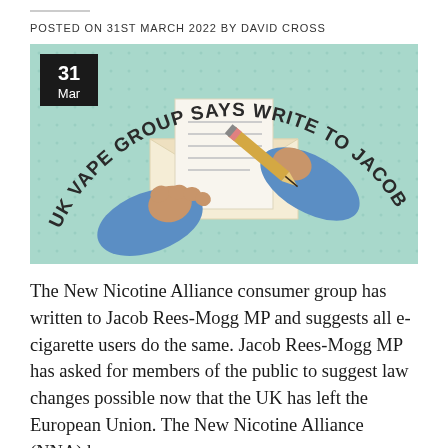POSTED ON 31ST MARCH 2022 BY DAVID CROSS
[Figure (illustration): Illustration of two hands (blue sleeves) holding a letter and a pencil, with a white envelope. Curved text reads: UK VAPE GROUP SAYS WRITE TO JACOB REES-MOGG. A date badge shows 31 Mar in top-left corner. Background is mint/teal dotted pattern.]
The New Nicotine Alliance consumer group has written to Jacob Rees-Mogg MP and suggests all e-cigarette users do the same. Jacob Rees-Mogg MP has asked for members of the public to suggest law changes possible now that the UK has left the European Union. The New Nicotine Alliance (NNA) has